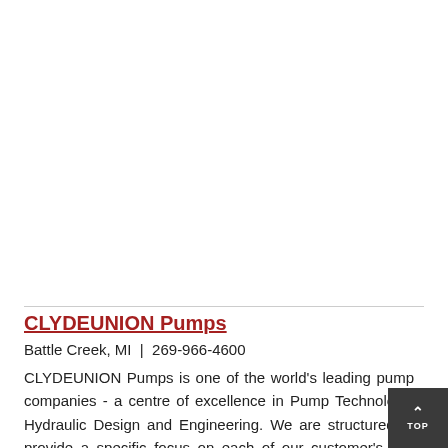CLYDEUNION Pumps
Battle Creek, MI  |  269-966-4600
CLYDEUNION Pumps is one of the world's leading pump companies - a centre of excellence in Pump Technology, Hydraulic Design and Engineering. We are structured to provide a specific focus on each of our customer's key markets as well as providing full global